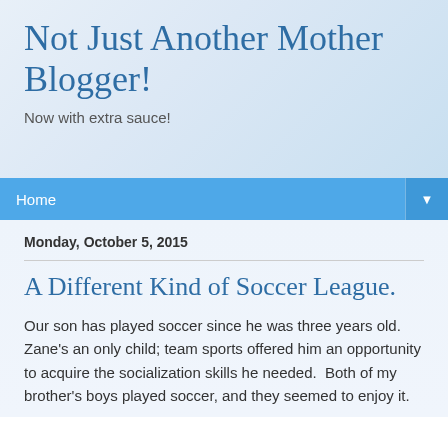Not Just Another Mother Blogger!
Now with extra sauce!
Home
Monday, October 5, 2015
A Different Kind of Soccer League.
Our son has played soccer since he was three years old. Zane's an only child; team sports offered him an opportunity to acquire the socialization skills he needed.  Both of my brother's boys played soccer, and they seemed to enjoy it.